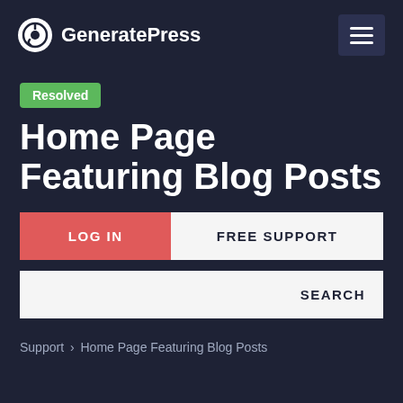GeneratePress
Home Page Featuring Blog Posts
Resolved
LOG IN
FREE SUPPORT
SEARCH
Support > Home Page Featuring Blog Posts